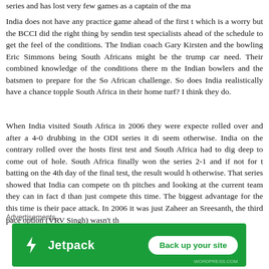series and has lost very few games as a captain of the ma...
India does not have any practice game ahead of the first t which is a worry but the BCCI did the right thing by sendin test specialists ahead of the schedule to get the feel of the conditions. The Indian coach Gary Kirsten and the bowling Eric Simmons being South Africans might be the trump car need. Their combined knowledge of the conditions there m the Indian bowlers and the batsmen to prepare for the So African challenge. So does India realistically have a chance topple South Africa in their home turf? I think they do.
When India visited South Africa in 2006 they were expecte rolled over and after a 4-0 drubbing in the ODI series it di seem otherwise. India on the contrary rolled over the hosts first test and South Africa had to dig deep to come out of hole. South Africa finally won the series 2-1 and if not for t batting on the 4th day of the final test, the result would h otherwise. That series showed that India can compete on th pitches and looking at the current team they can in fact d than just compete this time. The biggest advantage for the this time is their pace attack. In 2006 it was just Zaheer an Sreesanth, the third pace option (VRV Singh) wasn't th...
Advertisements
[Figure (other): Jetpack advertisement banner on green background with 'Back up your site' button]